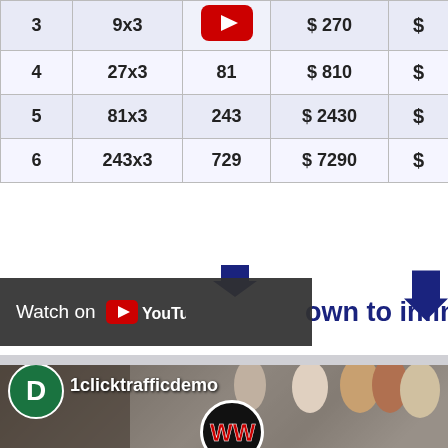|  |  |  | $ (price) | $ |
| --- | --- | --- | --- | --- |
| 3 | 9x3 | (YouTube icon) | $ 270 | $ |
| 4 | 27x3 | 81 | $ 810 | $ |
| 5 | 81x3 | 243 | $ 2430 | $ |
| 6 | 243x3 | 729 | $ 7290 | $ |
Watch on YouTube | down to infinity
[Figure (screenshot): Twitter profile page for '1clicktrafficdemo' showing WWE Rumors account with banner image of WWE wrestlers, avatar with letter D, WWE logo, and tweet feed with YouTube video overlay.]